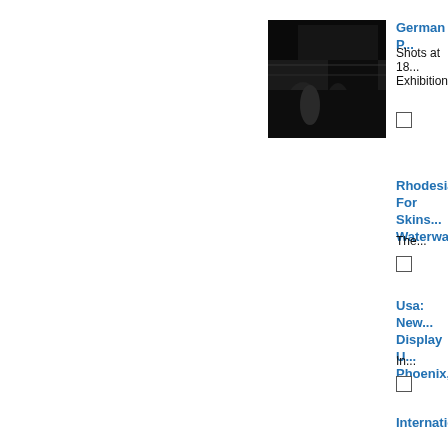[Figure (photo): Dark black-and-white photograph showing a train or railway scene with blurry figures]
German P...
Shots at 18... Exhibition.
Rhodesia:... For Skins... Waterway...
The...
Usa: New... Display U... Phoenix,...
In...
Internatio...
Cavalry off... George V C...